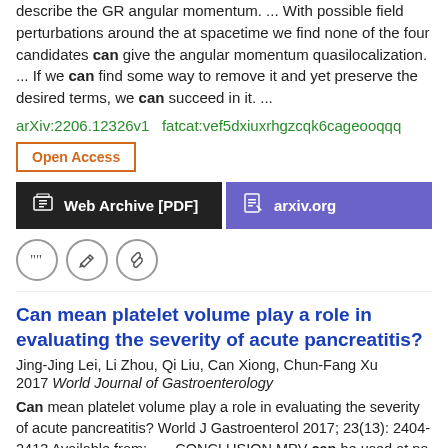describe the GR angular momentum.  ...  With possible field perturbations around the at spacetime we find none of the four candidates can give the angular momentum quasilocalization.  ...  If we can find some way to remove it and yet preserve the desired terms, we can succeed in it.  ...
arXiv:2206.12326v1  fatcat:vef5dxiuxrhgzcqk6cageooqqq
Open Access
[Figure (other): Two buttons: 'Web Archive [PDF]' (dark/black background) and 'arxiv.org' (purple background)]
[Figure (other): Three circular icon buttons: quote, edit/pencil, and link/chain icons]
Can mean platelet volume play a role in evaluating the severity of acute pancreatitis?
Jing-Jing Lei, Li Zhou, Qi Liu, Can Xiong, Chun-Fang Xu
2017 World Journal of Gastroenterology
Can mean platelet volume play a role in evaluating the severity of acute pancreatitis? World J Gastroenterol 2017; 23(13): 2404-2413 Available from:  ...  CONCLUSION MPV can be used at no additional cost as a useful, noninvasive biomarker that distinguishes AP with persistent OF from AP without persistent OF on day 1 of hospital admission.  ...  One focus of research on this topic should be the